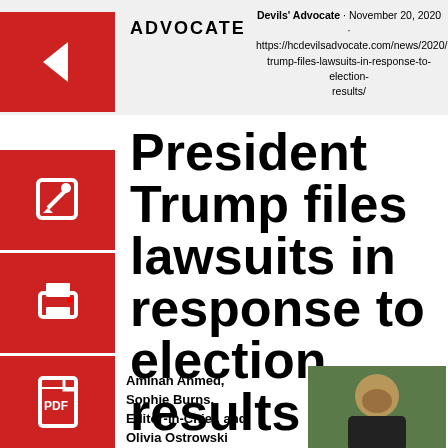Devils' Advocate · November 20, 2020 · https://hcdevilsadvocate.com/news/2020/11/20/trump-files-lawsuits-in-response-to-election-results/
President Trump files lawsuits in response to election results
Aminah Ahmed, Sophie Burns, Editor-In-Chief, and Olivia Ostrowski
[Figure (photo): Photo of President Trump looking downward, wearing dark suit, in front of decorative background with flowers/wreath]